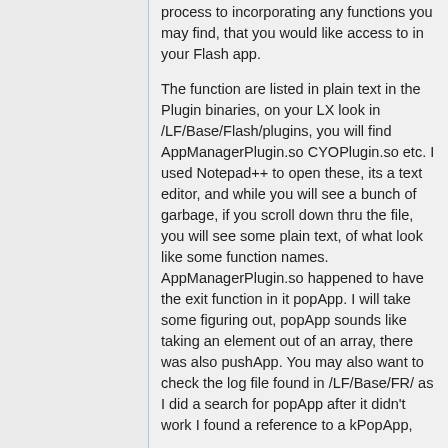process to incorporating any functions you may find, that you would like access to in your Flash app.
The function are listed in plain text in the Plugin binaries, on your LX look in /LF/Base/Flash/plugins, you will find AppManagerPlugin.so CYOPlugin.so etc. I used Notepad++ to open these, its a text editor, and while you will see a bunch of garbage, if you scroll down thru the file, you will see some plain text, of what look like some function names. AppManagerPlugin.so happened to have the exit function in it popApp. I will take some figuring out, popApp sounds like taking an element out of an array, there was also pushApp. You may also want to check the log file found in /LF/Base/FR/ as I did a search for popApp after it didn't work I found a reference to a kPopApp,